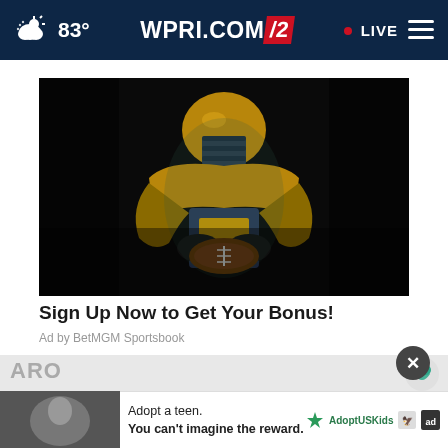83° WPRI.COM/2 • LIVE
[Figure (photo): Football player in gold and dark uniform holding a football, dark studio background, dramatic lighting]
Sign Up Now to Get Your Bonus!
Ad by BetMGM Sportsbook
ARO
Adopt a teen. You can't imagine the reward.